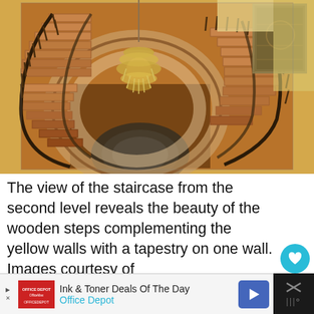[Figure (photo): Aerial/top-down view of a curved wooden staircase from the second level, showing wooden steps, dark railings with balusters, a crystal chandelier hanging in the center, a patterned rug at the bottom, and a decorative tapestry on the yellow wall to the right.]
The view of the staircase from the second level reveals the beauty of the wooden steps complementing the yellow walls with a tapestry on one wall. Images courtesy of Toptenrealestatedeals.com.
Ink & Toner Deals Of The Day Office Depot